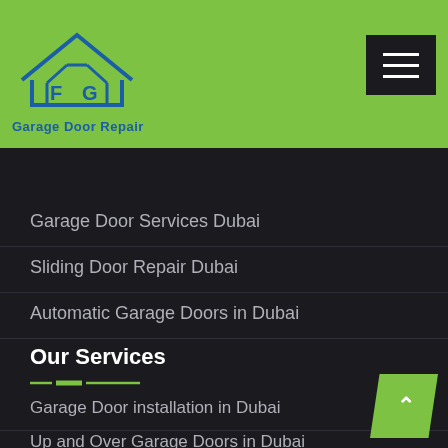[Figure (logo): FG Garage Door Repair logo with house and door icon in blue, on green background]
Garage Door Services Dubai
Sliding Door Repair Dubai
Automatic Garage Doors in Dubai
Our Services
Garage Door installation in Dubai
Up and Over Garage Doors in Dubai
Garage Door Openers in Dubai